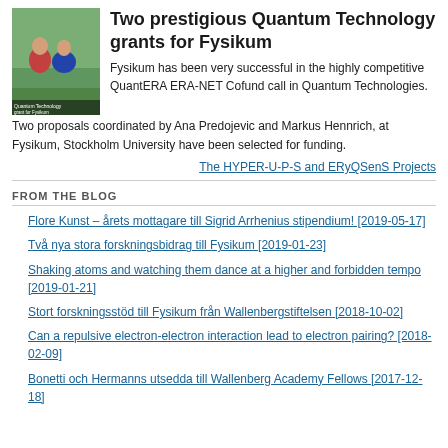[Figure (photo): Photo of two people sitting outdoors, with text overlay 'Quantum Technology grant for Fysikum']
Two prestigious Quantum Technology grants for Fysikum
Fysikum has been very successful in the highly competitive QuantERA ERA-NET Cofund call in Quantum Technologies. Two proposals coordinated by Ana Predojevic and Markus Hennrich, at Fysikum, Stockholm University have been selected for funding.
The HYPER-U-P-S and ERyQSenS Projects
FROM THE BLOG
Flore Kunst – årets mottagare till Sigrid Arrhenius stipendium! [2019-05-17]
Två nya stora forskningsbidrag till Fysikum [2019-01-23]
Shaking atoms and watching them dance at a higher and forbidden tempo [2019-01-21]
Stort forskningsstöd till Fysikum från Wallenbergstiftelsen [2018-10-02]
Can a repulsive electron-electron interaction lead to electron pairing? [2018-02-09]
Bonetti och Hermanns utsedda till Wallenberg Academy Fellows [2017-12-18]